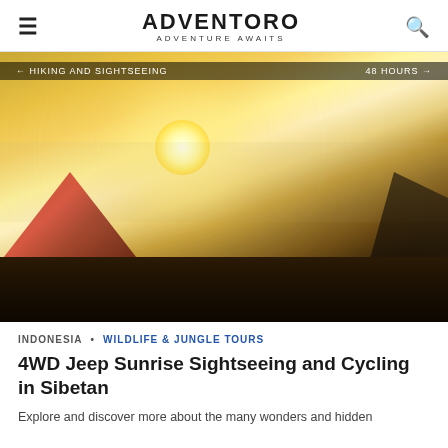ADVENTORO — ADVENTURE AWAITS
[Figure (photo): Sunrise over a misty mountainous landscape with a red tent silhouette in the foreground, golden sun glowing through haze above dark ground]
INDONESIA • WILDLIFE & JUNGLE TOURS
4WD Jeep Sunrise Sightseeing and Cycling in Sibetan
Explore and discover more about the many wonders and hidden